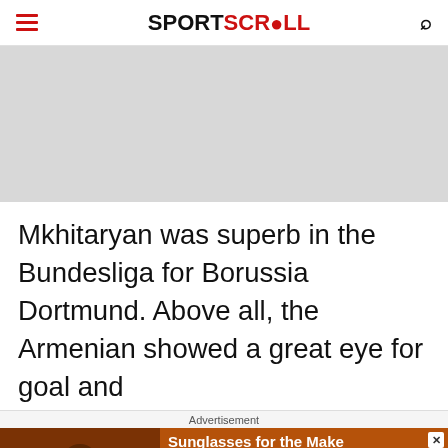SPORTSCROLL
[Figure (other): Gray placeholder banner image area]
Mkhitaryan was superb in the Bundesliga for Borussia Dortmund. Above all, the Armenian showed a great eye for goal and
Advertisement
[Figure (other): Advertisement banner: Sunglasses for the Make - TIMELESS STYLES, UNMATCHED QUALITY - SHOP NOW button]